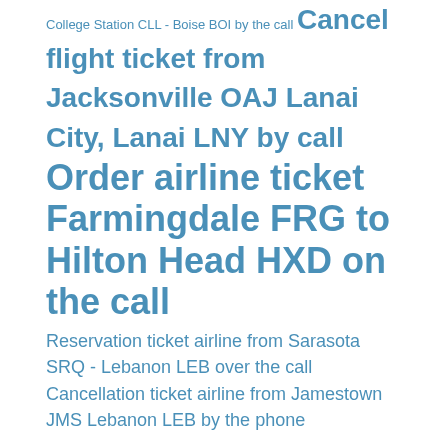College Station CLL - Boise BOI by the call Cancel flight ticket from Jacksonville OAJ Lanai City, Lanai LNY by call Order airline ticket Farmingdale FRG to Hilton Head HXD on the call
Reservation ticket airline from Sarasota SRQ - Lebanon LEB over the call Cancellation ticket airline from Jamestown JMS Lebanon LEB by the phone
© bookticketla.xyz | Privacy policy
1178 1179 1180 1181 1182